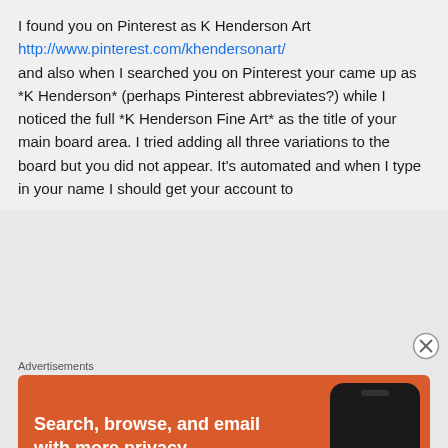I found you on Pinterest as K Henderson Art http://www.pinterest.com/khendersonart/ and also when I searched you on Pinterest your came up as *K Henderson* (perhaps Pinterest abbreviates?) while I noticed the full *K Henderson Fine Art* as the title of your main board area. I tried adding all three variations to the board but you did not appear. It's automated and when I type in your name I should get your account to
Advertisements
[Figure (infographic): DuckDuckGo advertisement banner with orange background. Text: 'Search, browse, and email with more privacy. All in One Free App'. Shows a DuckDuckGo logo and a phone graphic on the right.]